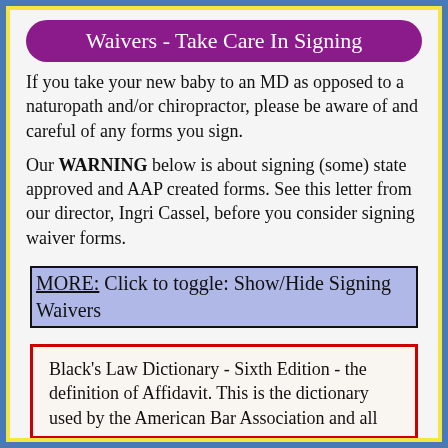Waivers - Take Care In Signing
If you take your new baby to an MD as opposed to a naturopath and/or chiropractor, please be aware of and careful of any forms you sign.
Our WARNING below is about signing (some) state approved and AAP created forms. See this letter from our director, Ingri Cassel, before you consider signing waiver forms.
MORE: Click to toggle: Show/Hide Signing Waivers
Black's Law Dictionary - Sixth Edition - the definition of Affidavit. This is the dictionary used by the American Bar Association and all